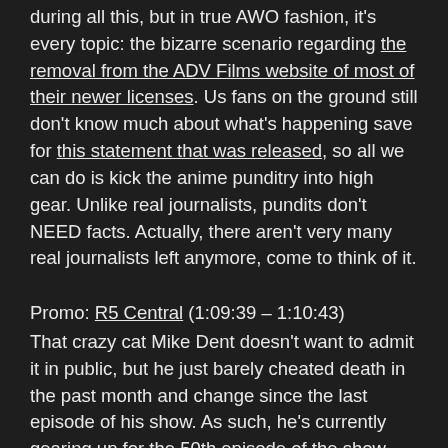during all this, but in true AWO fashion, it's every topic: the bizarre scenario regarding the removal from the ADV Films website of most of their newer licenses. Us fans on the ground still don't know much about what's happening save for this statement that was released, so all we can do is kick the anime punditry into high gear. Unlike real journalists, pundits don't NEED facts. Actually, there aren't very many real journalists left anymore, come to think of it.
Promo: R5 Central (1:09:39 – 1:10:43) That crazy cat Mike Dent doesn't want to admit it in public, but he just barely cheated death in the past month and change since the last episode of his show. As such, he's currently gearing up for the 50th episode of the show. Truly a podcasting milestone! We'd record a congratulatory message to be played at the time, but we keep forgetting.